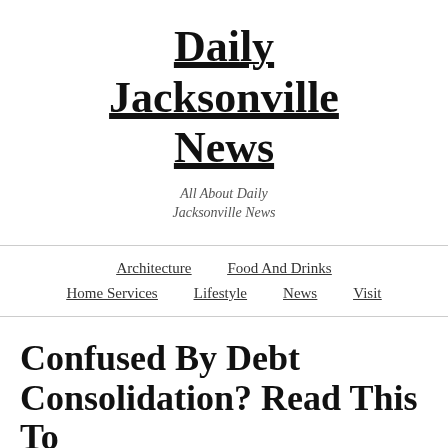Daily Jacksonville News
All About Daily Jacksonville News
Architecture  Food And Drinks  Home Services  Lifestyle  News  Visit
Confused By Debt Consolidation? Read This To